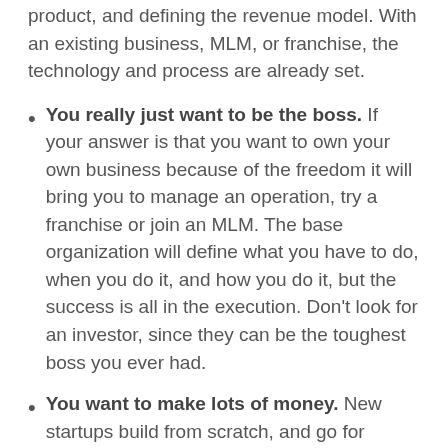product, and defining the revenue model. With an existing business, MLM, or franchise, the technology and process are already set.
You really just want to be the boss. If your answer is that you want to own your own business because of the freedom it will bring you to manage an operation, try a franchise or join an MLM. The base organization will define what you have to do, when you do it, and how you do it, but the success is all in the execution. Don't look for an investor, since they can be the toughest boss you ever had.
You want to make lots of money. New startups build from scratch, and go for broke. Many end that way, but a chosen few do make lots of money. Franchises, on the average, make less money than other types of businesses, but they have higher success rates. Consulting businesses rarely scale, so you may do well, but are not likely to make lots of money. MLMs are